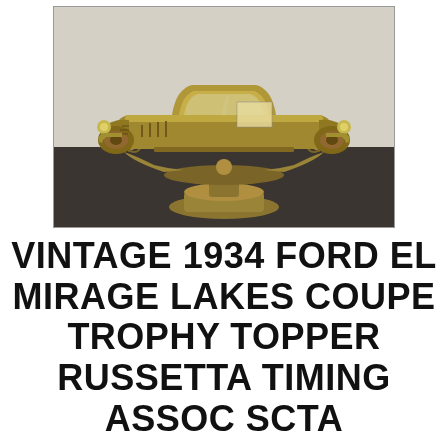[Figure (photo): A vintage gold/brass trophy topper in the shape of a chopped 1934 Ford coupe automobile, mounted on a decorative support base with ornate curved elements and a round pedestal base. The trophy topper is shown in a gold/yellow metallic finish against a light gray background.]
VINTAGE 1934 FORD EL MIRAGE LAKES COUPE TROPHY TOPPER RUSSETTA TIMING ASSOC SCTA
Russetta Timing Association 1948-1961 Was Created Since, Scta Did Not Allow Closed Cars. The Decorative Support Base Proves It's From A Russetta Trophy. The Style Of This Trophy Topper Is A Chopped 1934 Ford.